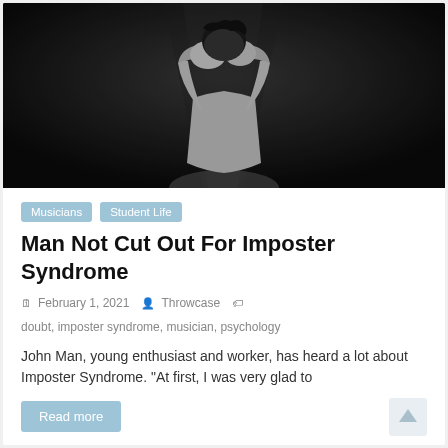[Figure (photo): Black and white photo of a man standing with hands raised to cover his face, dramatic moody lighting]
Musicians
Student Life
Man Not Cut Out For Imposter Syndrome
February 1, 2021  Throwcase  doubt, imposter syndrome, musician, psychology
John Man, young enthusiast and worker, has heard a lot about Imposter Syndrome. “At first, I was very glad to
Read more